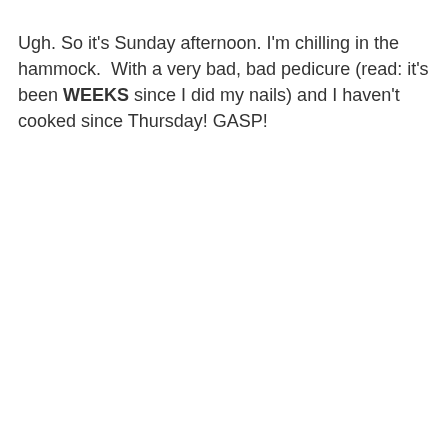Ugh. So it's Sunday afternoon. I'm chilling in the hammock.  With a very bad, bad pedicure (read: it's been WEEKS since I did my nails) and I haven't cooked since Thursday! GASP!